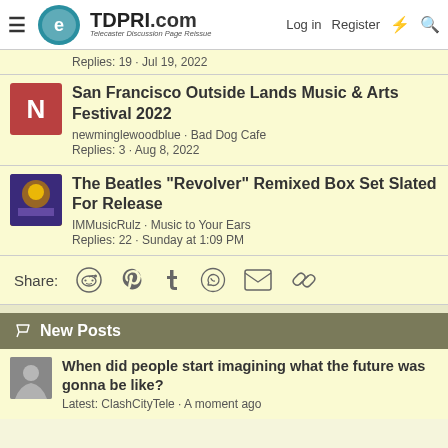TDPRI.com — Telecaster Discussion Page Reissue | Log in | Register
Replies: 19 · Jul 19, 2022
San Francisco Outside Lands Music & Arts Festival 2022
newminglewoodblue · Bad Dog Cafe
Replies: 3 · Aug 8, 2022
The Beatles "Revolver" Remixed Box Set Slated For Release
IMMusicRulz · Music to Your Ears
Replies: 22 · Sunday at 1:09 PM
Share:
New Posts
When did people start imagining what the future was gonna be like?
Latest: ClashCityTele · A moment ago